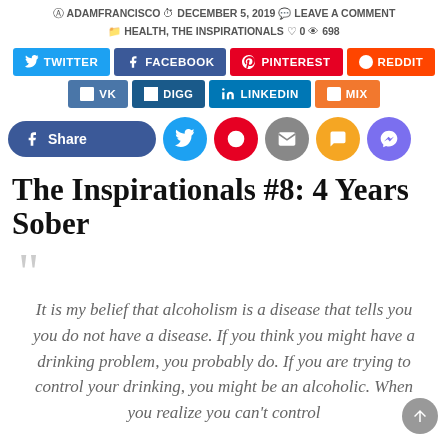ADAMFRANCISCO  DECEMBER 5, 2019  LEAVE A COMMENT  HEALTH, THE INSPIRATIONALS  0  698
[Figure (infographic): Social sharing buttons row: TWITTER, FACEBOOK, PINTEREST, REDDIT, VK, DIGG, LINKEDIN, MIX]
[Figure (infographic): Share buttons row: Facebook Share (pill shaped), Twitter circle, Pinterest circle, Email circle, SMS circle, Messenger circle]
The Inspirationals #8: 4 Years Sober
It is my belief that alcoholism is a disease that tells you you do not have a disease. If you think you might have a drinking problem, you probably do. If you are trying to control your drinking, you might be an alcoholic. When you realize you can't control your drinking, ask for help.